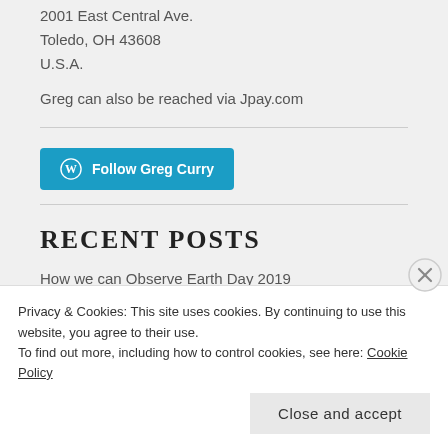Toledo, OH.
2001 East Central Ave.
Toledo, OH 43608
U.S.A.
Greg can also be reached via Jpay.com
[Figure (other): Follow Greg Curry button with WordPress logo]
RECENT POSTS
How we can Observe Earth Day 2019
Privacy & Cookies: This site uses cookies. By continuing to use this website, you agree to their use.
To find out more, including how to control cookies, see here: Cookie Policy
Close and accept